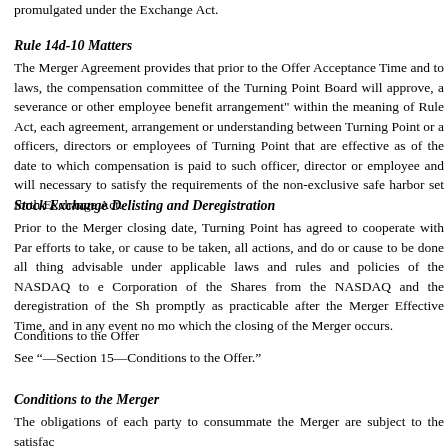promulgated under the Exchange Act.
Rule 14d-10 Matters
The Merger Agreement provides that prior to the Offer Acceptance Time and to laws, the compensation committee of the Turning Point Board will approve, a severance or other employee benefit arrangement" within the meaning of Rule Act, each agreement, arrangement or understanding between Turning Point or a officers, directors or employees of Turning Point that are effective as of the date to which compensation is paid to such officer, director or employee and will necessary to satisfy the requirements of the non-exclusive safe harbor set forth Exchange Act.
Stock Exchange Delisting and Deregistration
Prior to the Merger closing date, Turning Point has agreed to cooperate with Par efforts to take, or cause to be taken, all actions, and do or cause to be done all thing advisable under applicable laws and rules and policies of the NASDAQ to e Corporation of the Shares from the NASDAQ and the deregistration of the Sh promptly as practicable after the Merger Effective Time, and in any event no mo which the closing of the Merger occurs.
Conditions to the Offer
See "—Section 15—Conditions to the Offer."
Conditions to the Merger
The obligations of each party to consummate the Merger are subject to the satisfac